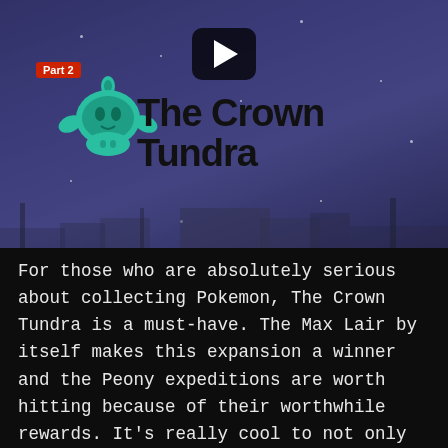[Figure (screenshot): Video thumbnail for The Crown Tundra Part 2 Pokemon expansion. Shows a snowy outdoor scene with a play button, a red 'Part 2' badge, and 'The Crown Tundra' logo in dark bold text with a teal creature icon.]
For those who are absolutely serious about collecting Pokemon, The Crown Tundra is a must-have. The Max Lair by itself makes this expansion a winner and the Peony expeditions are worth hitting because of their worthwhile rewards. It's really cool to not only find old legendaries, but also find the new Galarian varieties of familiar faces, like the three legendary birds from Red/Blue/Yellow. And even after you see the black "THE END" screen, there are still more activities involving other legendaries, rare Pokemon, and even the game's Gym Leaders.